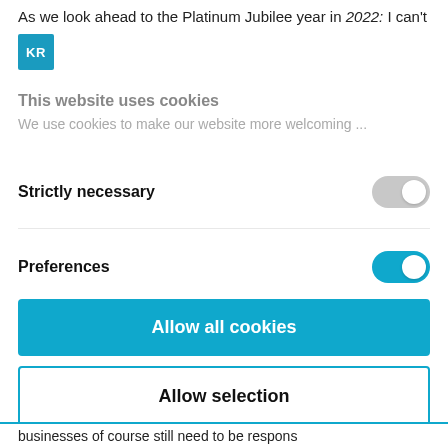As we look ahead to the Platinum Jubilee year in 2022: I can't
[Figure (logo): KR blue square badge/avatar icon]
This website uses cookies
We use cookies to make our website more welcoming ...
Strictly necessary
Preferences
Allow all cookies
Allow selection
Powered by Cookiebot by Usercentrics
businesses of course still need to be respons